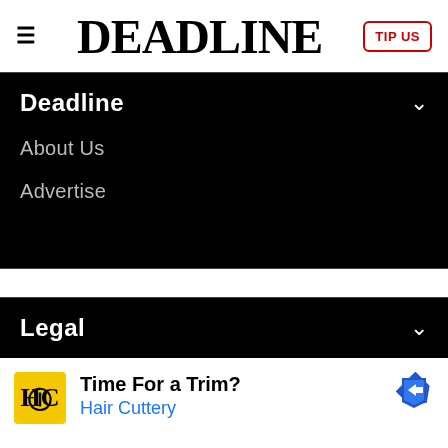DEADLINE
Deadline
About Us
Advertise
Legal
Terms of Use
Privacy Policy
[Figure (infographic): Advertisement banner for Hair Cuttery: yellow HC logo, text 'Time For a Trim? Hair Cuttery', blue navigation arrow icon]